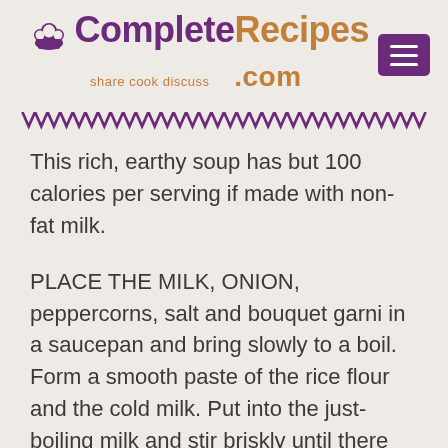CompleteRecipes.com — share cook discuss
This rich, earthy soup has but 100 calories per serving if made with non-fat milk.
PLACE THE MILK, ONION, peppercorns, salt and bouquet garni in a saucepan and bring slowly to a boil. Form a smooth paste of the rice flour and the cold milk. Put into the just-boiling milk and stir briskly until there are
no lumps. Simmer over very low heat for 20 minutes. Meanwhile, cut off the